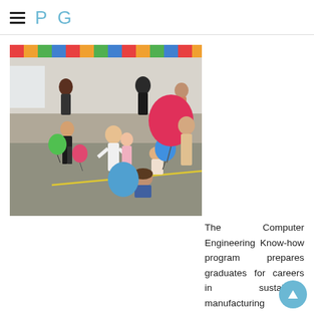P G
[Figure (photo): Children playing with balloons in a school gymnasium or hall. Several kids in white shirts are running and chasing colourful balloons (pink, blue, green). Adults supervise in the background. Classroom decorations are visible on walls.]
The Computer Engineering Know-how program prepares graduates for careers in sustaining, manufacturing integration and assist of computer purposes. Recreation mini memiliki tema perang yang futuristik dan memiliki kemampuan super pada karakternya sehingga akan memperkuat ciri khas game ini. To bring an ant again to life, 4 ants must seize a leg or arm every (or one ant if there